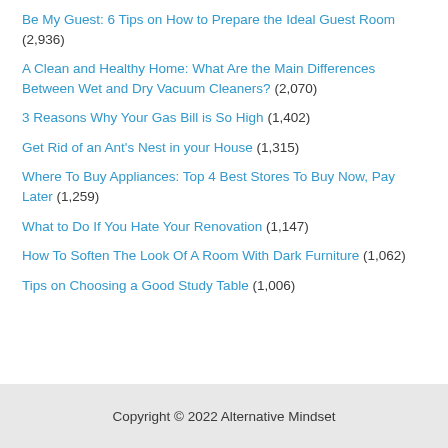Be My Guest: 6 Tips on How to Prepare the Ideal Guest Room (2,936)
A Clean and Healthy Home: What Are the Main Differences Between Wet and Dry Vacuum Cleaners? (2,070)
3 Reasons Why Your Gas Bill is So High (1,402)
Get Rid of an Ant's Nest in your House (1,315)
Where To Buy Appliances: Top 4 Best Stores To Buy Now, Pay Later (1,259)
What to Do If You Hate Your Renovation (1,147)
How To Soften The Look Of A Room With Dark Furniture (1,062)
Tips on Choosing a Good Study Table (1,006)
Copyright © 2022 Alternative Mindset